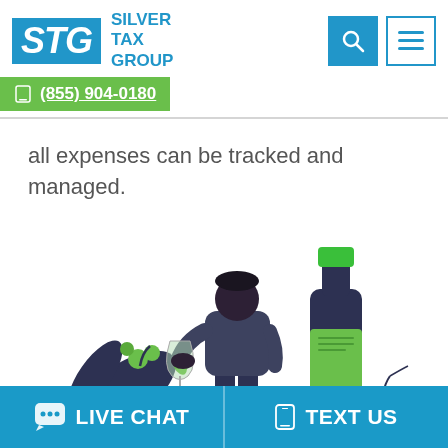STG SILVER TAX GROUP | (855) 904-0180
all expenses can be tracked and managed.
[Figure (illustration): Illustrated scene showing a person holding a wine glass, a large wine bottle, green grapes, and decorative leaves — all in dark navy and bright green color scheme]
LIVE CHAT | TEXT US